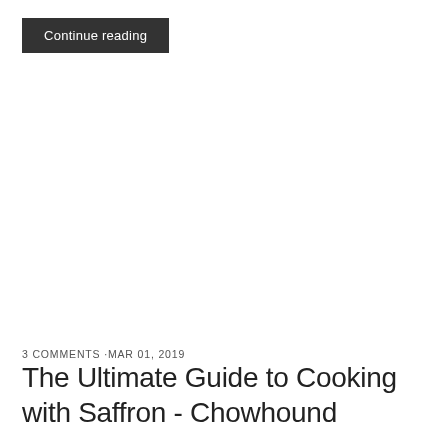Continue reading
3 COMMENTS ·MAR 01, 2019
The Ultimate Guide to Cooking with Saffron - Chowhound